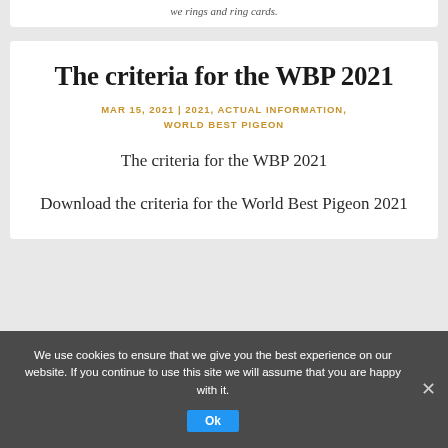we rings and ring cards.
The criteria for the WBP 2021
MAR 15, 2021 | 2021, ACTUAL INFORMATION, WORLD BEST PIGEON
The criteria for the WBP 2021
Download the criteria for the World Best Pigeon 2021
We use cookies to ensure that we give you the best experience on our website. If you continue to use this site we will assume that you are happy with it.